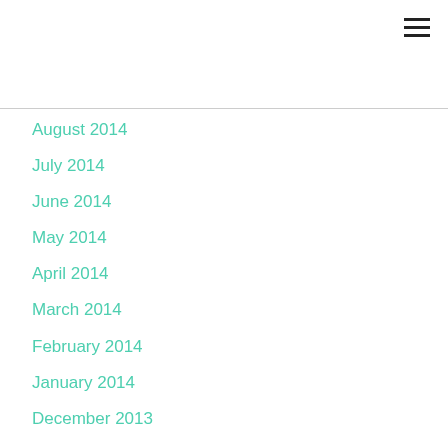August 2014
July 2014
June 2014
May 2014
April 2014
March 2014
February 2014
January 2014
December 2013
November 2013
October 2013
September 2013
August 2013
July 2013
June 2013
May 2013
April 2013